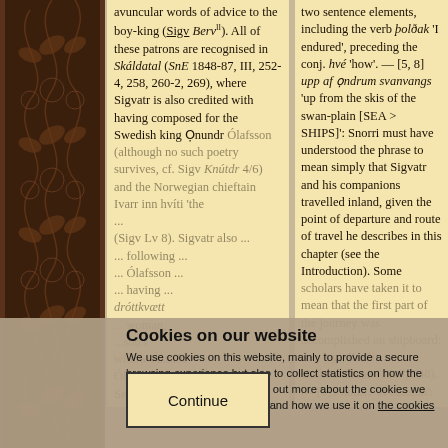[Figure (illustration): Dark brown decorative ornamental border on the left side of the page with interlaced vine/leaf patterns]
avuncular words of advice to the boy-king (Sigv Bervll). All of these patrons are recognised in Skáldatal (SnE 1848-87, III, 252-4, 258, 260-2, 269), where Sigvatr is also credited with having composed for the Swedish king Ọnundr Ólafsson (although no such poetry survives, cf. Sigv Knútdr 4/6) and the Norwegian chieftain Ivarr inn hvíti 'the ... (Sigv Lv 8). Sigvatr also ... following ... Ólafsson ... having ... dróttkvætt ... woman, ...son's widow Ástríðr Ólafsdóttir (Sigv Ást). Several of Sigvatr's poems are more or less ...
two sentence elements, including the verb þolðak 'I endured', preceding the conj. hvé 'how'. — [5, 8] upp af ọndrum svanvangs 'up from the skis of the swan-plain [SEA > SHIPS]': Snorri must have understood the phrase to mean simply that Sigvatr and his companions travelled inland, given the point of departure and route of travel he describes in this chapter (see the Introduction). Some scholars have taken it to mean that the first part of the journey was accomplished on shipboard: see, e.g., Barði Guðmundsson (1927, 548). — [6] í hausti 'in autumn': This phrase is placed here in the intercalary clause, qualifying svafk ... tripatiite line that results if í hausti is taken with vask sendr 'I was sent' (so SkjB), though it is unclear why Sigvatr would refer to autumn in connection with sleeplessness, while the logical connection to his departure is obvious. The present analysis has permitted some (e.g. ...
Cookies on our website
We use cookies on this website, mainly to provide a secure browsing experience but also to collect statistics on how the website is used. You can find out more about the cookies we set, the information we store and how we use it on the cookies page.
Continue